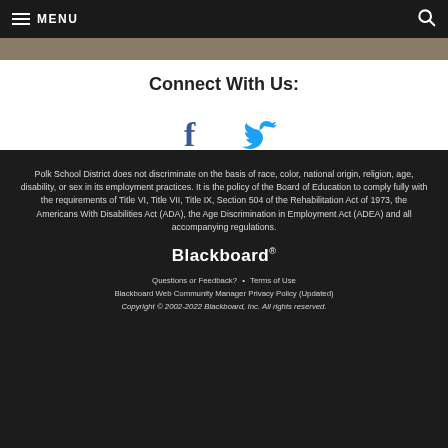MENU
Connect With Us:
[Figure (illustration): Facebook and Twitter social media icons]
Polk School District does not discriminate on the basis of race, color, national origin, religion, age, disability, or sex in its employment practices. It is the policy of the Board of Education to comply fully with the requirements of Title VI, Title VII, Title IX, Section 504 of the Rehabilitation Act of 1973, the Americans With Disabilities Act (ADA), the Age Discrimination in Employment Act (ADEA) and all accompanying regulations.
[Figure (logo): Blackboard logo]
Questions or Feedback? • Terms of Use
Blackboard Web Community Manager Privacy Policy (Updated)
Copyright © 2002-2022 Blackboard, Inc. All rights reserved.